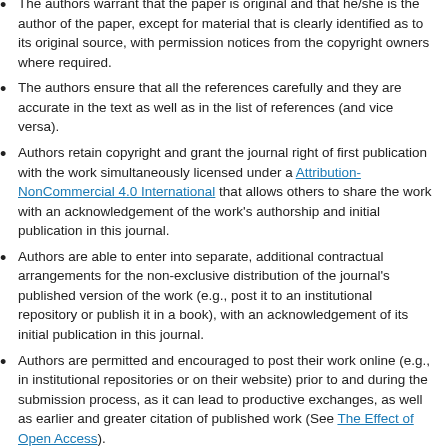The authors warrant that the paper is original and that he/she is the author of the paper, except for material that is clearly identified as to its original source, with permission notices from the copyright owners where required.
The authors ensure that all the references carefully and they are accurate in the text as well as in the list of references (and vice versa).
Authors retain copyright and grant the journal right of first publication with the work simultaneously licensed under a Attribution-NonCommercial 4.0 International that allows others to share the work with an acknowledgement of the work's authorship and initial publication in this journal.
Authors are able to enter into separate, additional contractual arrangements for the non-exclusive distribution of the journal's published version of the work (e.g., post it to an institutional repository or publish it in a book), with an acknowledgement of its initial publication in this journal.
Authors are permitted and encouraged to post their work online (e.g., in institutional repositories or on their website) prior to and during the submission process, as it can lead to productive exchanges, as well as earlier and greater citation of published work (See The Effect of Open Access).
The journal/publisher is not responsible for subsequent uses of